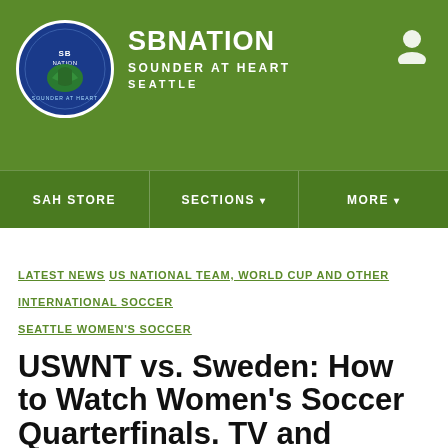[Figure (logo): SB Nation Sounder at Heart logo — circular badge with soccer player silhouette on dark blue background]
SBNATION
SOUNDER AT HEART
SEATTLE
SAH STORE  SECTIONS  MORE
LATEST NEWS  US NATIONAL TEAM, WORLD CUP AND OTHER INTERNATIONAL SOCCER  SEATTLE WOMEN'S SOCCER
USWNT vs. Sweden: How to Watch Women's Soccer Quarterfinals. TV and Streaming Listings
Olympic Soccer Quarterfinals opens with a grudge match between the USWNT and Sweden with the USA looking to avoid the